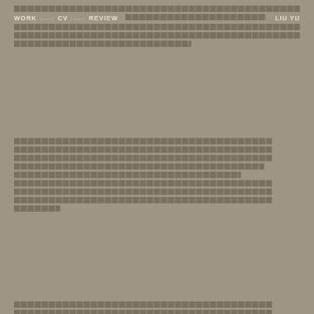WORK :----- CV :----- REVIEW ████████████████████████████████████ LIU YU
████████████████████████████████████████████████████████████████████████████████████████████████████████████████████████████████████████████████████████████████████████████████████████████████████████████████████████████████████████████████████████████████████████████████████
████████████████████████████████████████████████████████████████████████████████████████████████████████████████████████████████████████████████████████████████████████████████████████████████████████████████████████████████████████████████████████████████████████████████████████████████████████████████████████████████████████████████████████████████████████████████████████████████████████████████████████████████████████████
████████████████████████████████████████████████████████████████████████████████████████████████████████████████████████████████████████████████████████████████████████████████████████████████████████████████████████████████████████████████████████████